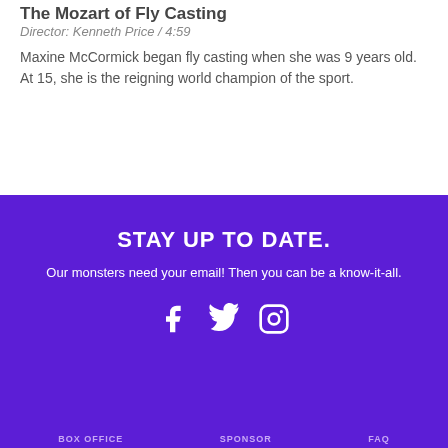The Mozart of Fly Casting
Director: Kenneth Price / 4:59
Maxine McCormick began fly casting when she was 9 years old. At 15, she is the reigning world champion of the sport.
STAY UP TO DATE.
Our monsters need your email! Then you can be a know-it-all.
[Figure (illustration): Social media icons: Facebook, Twitter, Instagram]
BOX OFFICE   SPONSOR   FAQ